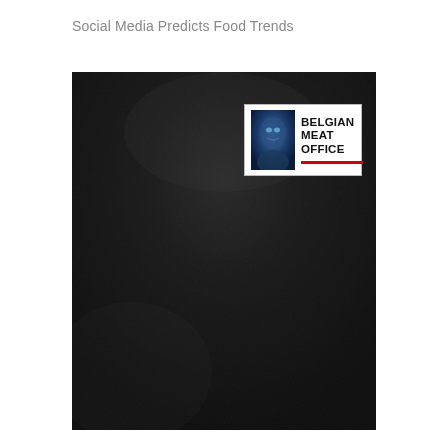Social Media Predicts Food Trends
[Figure (photo): Dark textured background image (appears to be a dark/black surface with subtle texture and gradient). In the upper-right area of the image is a Belgian Meat Office logo consisting of a blue-tinted face photo on the left and bold text 'BELGIAN MEAT OFFICE' on the right with a red horizontal line below the text.]